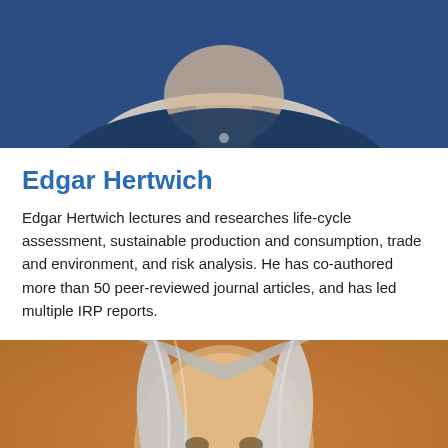[Figure (photo): Portrait photo of Edgar Hertwich, a man wearing a dark navy shirt, cropped to show shoulders and lower face at top of page]
Edgar Hertwich
Edgar Hertwich lectures and researches life-cycle assessment, sustainable production and consumption, trade and environment, and risk analysis. He has co-authored more than 50 peer-reviewed journal articles, and has led multiple IRP reports.
[Figure (photo): Portrait photo of a woman with long silver-grey hair, visible from shoulders up, against a warm brown/orange background]